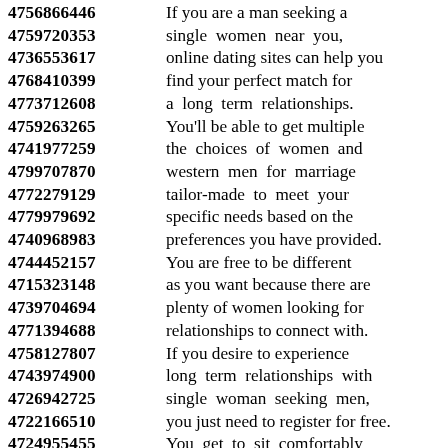4756866446 If you are a man seeking a
4759720353 single women near you,
4736553617 online dating sites can help you
4768410399 find your perfect match for
4773712608 a long term relationships.
4759263265 You'll be able to get multiple
4741977259 the choices of women and
4799707870 western men for marriage
4772279129 tailor-made to meet your
4779979692 specific needs based on the
4740968983 preferences you have provided.
4744452157 You are free to be different
4715323148 as you want because there are
4739704694 plenty of women looking for
4771394688 relationships to connect with.
4758127807 If you desire to experience
4743974900 long term relationships with
4726942725 single woman seeking men,
4722166510 you just need to register for free.
4724955455 You get to sit comfortably
4757731184 at your home without getting
4712505468 dressed up and enjoy the
4790266348 perks that come with it,
4767322212 texting girl dating with phone.
4782165190 From the list of profiles
4710240200 available ...